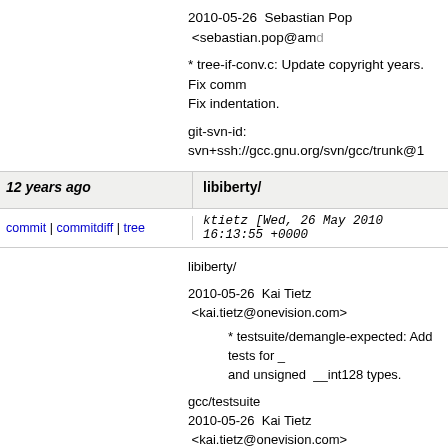2010-05-26  Sebastian Pop  <sebastian.pop@amd...
* tree-if-conv.c: Update copyright years.  Fix comm... Fix indentation.
git-svn-id: svn+ssh://gcc.gnu.org/svn/gcc/trunk@1...
12 years ago
libiberty/
commit | commitdiff | tree
ktietz [Wed, 26 May 2010 16:13:55 +0000
libiberty/
2010-05-26  Kai Tietz  <kai.tietz@onevision.com>
* testsuite/demangle-expected: Add tests for _ and unsigned __int128 types.
gcc/testsuite
2010-05-26  Kai Tietz  <kai.tietz@onevision.com>
* lib/target-supports.exp (check_effective_target_i... function to check if __int128 types are available fo...
* testsuite/c-c++-common/int128-types-1.c: New.
* testsuite/c-c++-common/int128-1.c: New.
* testsuite/c-c++-common/int128-2.c: New.
* g++.dg/abi/mangle43.C: New.
* g++.dg/init/enum1.C: Handle __int128 case and